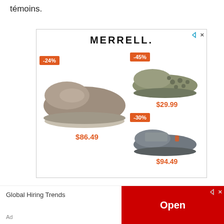témoins.
[Figure (screenshot): Merrell shoes advertisement showing three shoe products with discount badges (-24%, -45%, -30%) and prices ($86.49, $29.99, $94.49) on a white background with MERRELL brand name at top.]
Organic Gluten Free Instant Oatmeal Variety Pack 48 Packets
[Figure (screenshot): Bottom banner ad showing 'Global Hiring Trends' text on left with 'Ad' label, and red 'Open' button on right with ad indicator icons.]